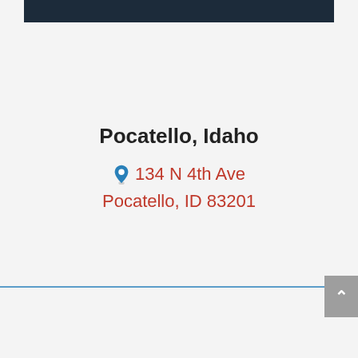Pocatello, Idaho
134 N 4th Ave Pocatello, ID 83201